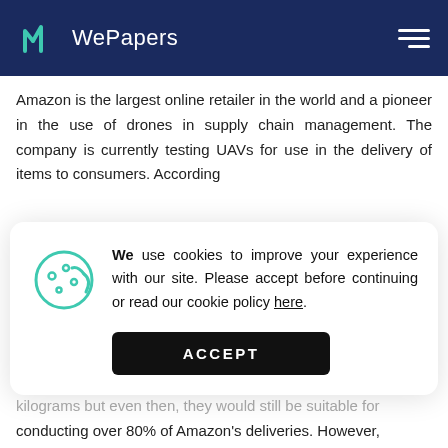WePapers
Amazon is the largest online retailer in the world and a pioneer in the use of drones in supply chain management. The company is currently testing UAVs for use in the delivery of items to consumers. According
[Figure (other): Cookie consent modal popup with cookie icon, message about cookies, and ACCEPT button. Text: We use cookies to improve your experience with our site. Please accept before continuing or read our cookie policy here.]
kilograms but even then, they would still be suitable for conducting over 80% of Amazon's deliveries. However, the US FAA (Federal Aviation Administration) has yet to approve the use of unmanned drones for commercial